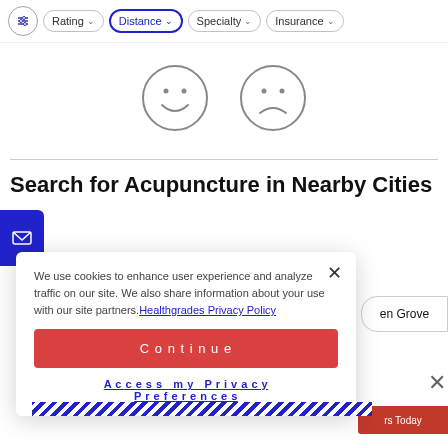Rating   Distance   Specialty   Insurance
[Figure (illustration): Two face emoji outlines: a happy face (smiling) and a sad face (frowning), drawn in gray outline style]
Search for Acupuncture in Nearby Cities
We use cookies to enhance user experience and analyze traffic on our site. We also share information about your use with our site partners. Healthgrades Privacy Policy
Continue
Access my Privacy Preferences